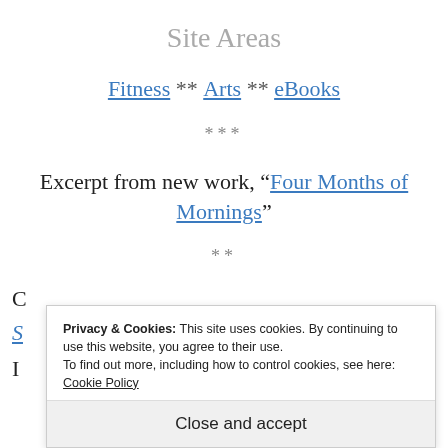Site Areas
Fitness ** Arts ** eBooks
***
Excerpt from new work, “Four Months of Mornings”
**
Privacy & Cookies: This site uses cookies. By continuing to use this website, you agree to their use.
To find out more, including how to control cookies, see here: Cookie Policy
Close and accept